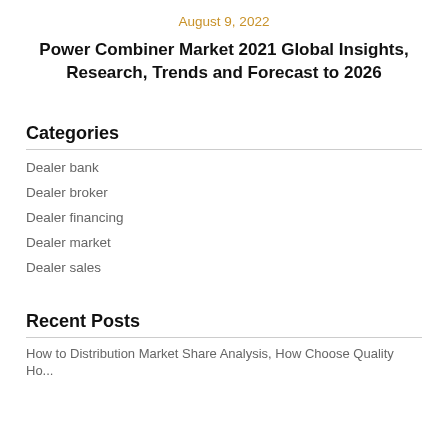August 9, 2022
Power Combiner Market 2021 Global Insights, Research, Trends and Forecast to 2026
Categories
Dealer bank
Dealer broker
Dealer financing
Dealer market
Dealer sales
Recent Posts
How to Distribution Market Share Analysis, How Choose Quality Ho...